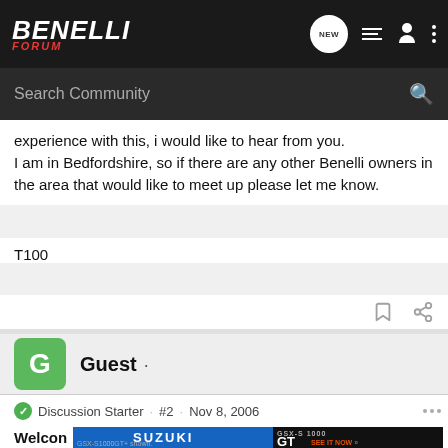BENELLI FORUM
experience with this, i would like to hear from you.
I am in Bedfordshire, so if there are any other Benelli owners in the area that would like to meet up please let me know.
T100
Guest · Discussion Starter · #2 · Nov 8, 2006
Welcon
[Figure (photo): Suzuki GSX-S1000 GT advertisement banner showing motorcycle and GSX-S1000 GT branding with SEE IT NOW button]